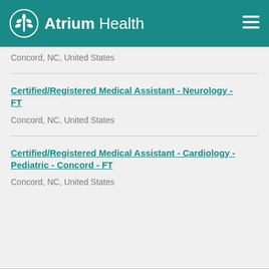Atrium Health
Concord, NC, United States
Certified/Registered Medical Assistant - Neurology - FT
Concord, NC, United States
Certified/Registered Medical Assistant - Cardiology - Pediatric - Concord - FT
Concord, NC, United States